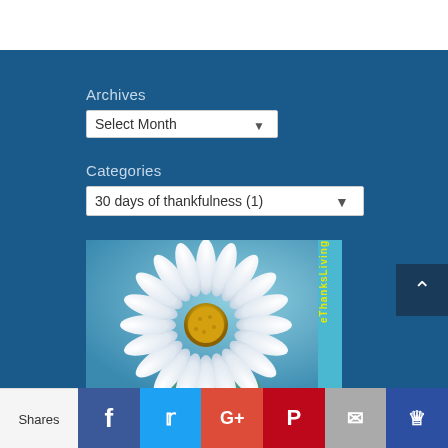Archives
Select Month
Categories
30 days of thankfulness  (1)
[Figure (photo): White daisy flower with yellow center on gradient blue-green background, with vertical yellow text reading 'eThanksLiving' on right side]
Shares
Facebook, Twitter, Google+, Pinterest, Email, Crown social share buttons